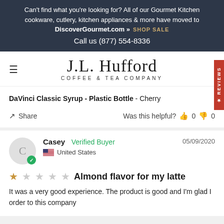Can't find what you're looking for? All of our Gourmet Kitchen cookware, cutlery, kitchen appliances & more have moved to DiscoverGourmet.com » SHOP SALE Call us (877) 554-8336
J.L. Hufford COFFEE & TEA COMPANY
DaVinci Classic Syrup - Plastic Bottle - Cherry
Share | Was this helpful? 0 0
Casey Verified Buyer 05/09/2020 United States
★☆☆☆☆ Almond flavor for my latte
It was a very good experience. The product is good and I'm glad I order to this company